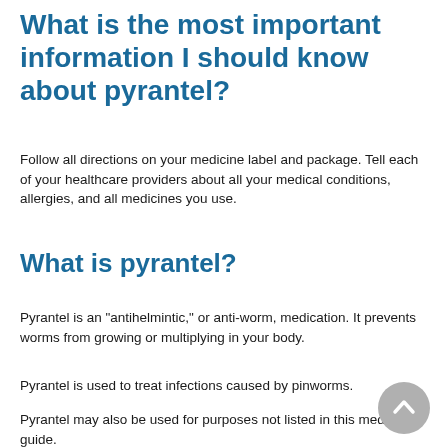What is the most important information I should know about pyrantel?
Follow all directions on your medicine label and package. Tell each of your healthcare providers about all your medical conditions, allergies, and all medicines you use.
What is pyrantel?
Pyrantel is an "antihelmintic," or anti-worm, medication. It prevents worms from growing or multiplying in your body.
Pyrantel is used to treat infections caused by pinworms.
Pyrantel may also be used for purposes not listed in this medication guide.